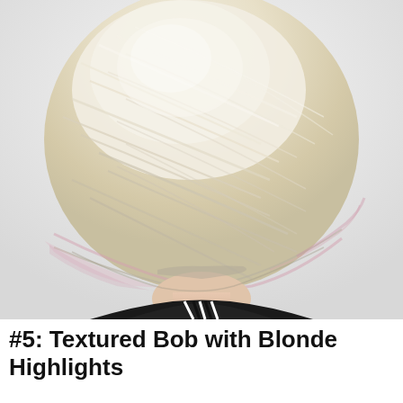[Figure (photo): Back view of a woman with a textured bob haircut featuring platinum blonde hair with subtle pink highlights at the ends, wearing a black top with a black and white collar detail, against a light grey/white background.]
#5: Textured Bob with Blonde Highlights